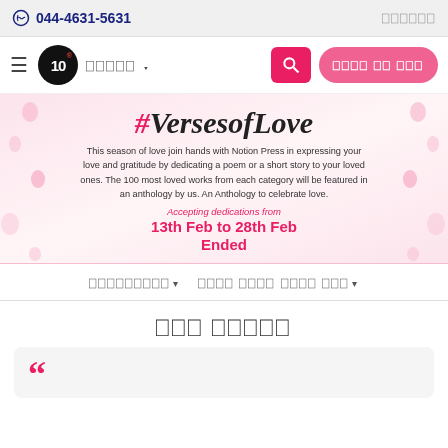044-4631-5631
[Figure (logo): 10F logo in black circle with red R mark]
#VersesofLove
This season of love join hands with Notion Press in expressing your love and gratitude by dedicating a poem or a short story to your loved ones. The 100 most loved works from each category will be featured in an anthology by us. An Anthology to celebrate love.
Accepting dedications from
13th Feb to 28th Feb
Ended
நம் கவிதை